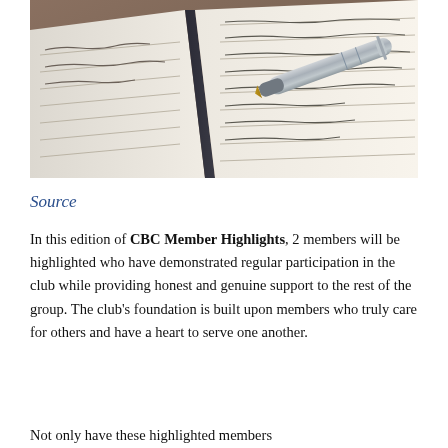[Figure (photo): Close-up photo of an open notebook with handwritten cursive text and a silver fountain pen resting on the pages]
Source
In this edition of CBC Member Highlights, 2 members will be highlighted who have demonstrated regular participation in the club while providing honest and genuine support to the rest of the group. The club's foundation is built upon members who truly care for others and have a heart to serve one another.
Not only have these highlighted members...